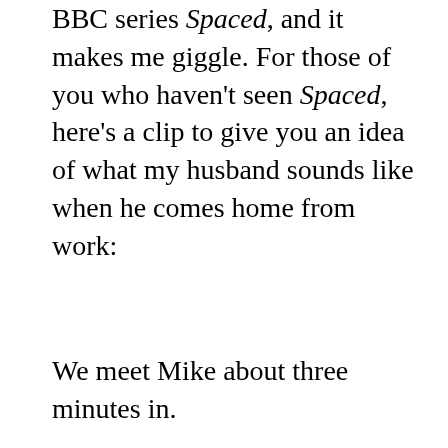BBC series Spaced, and it makes me giggle. For those of you who haven't seen Spaced, here's a clip to give you an idea of what my husband sounds like when he comes home from work:
We meet Mike about three minutes in.